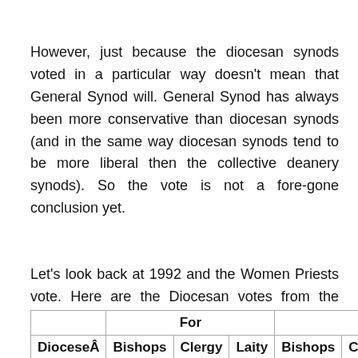However, just because the diocesan synods voted in a particular way doesn't mean that General Synod will. General Synod has always been more conservative than diocesan synods (and in the same way diocesan synods tend to be more liberal then the collective deanery synods). So the vote is not a fore-gone conclusion yet.
Let's look back at 1992 and the Women Priests vote. Here are the Diocesan votes from the 1990 consultation process.
| DioceseÂ | For – Bishops | For – Clergy | For – Laity | Against – Bishops | Against – Clergy | Against – L… |
| --- | --- | --- | --- | --- | --- | --- |
| Bath & Wells | 1 | 64 | 55 | 0 | 18 |  |